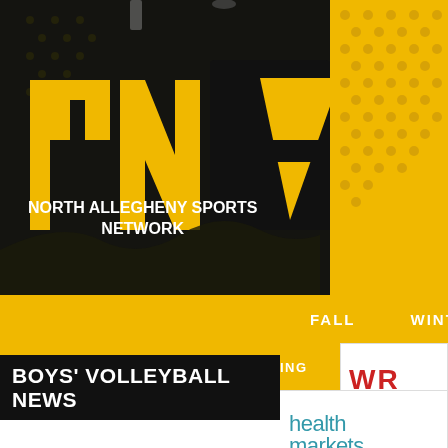[Figure (logo): North Allegheny Sports Network logo with large NA letters in gold on dark honeycomb background]
NORTH ALLEGHENY SPORTS NETWORK
FALL  WINTER
DEPARTMENT  ATHLETIC TRAINING
[Figure (logo): WR Nissan sponsor logo]
[Figure (logo): health markets sponsor logo]
BOYS' VOLLEYBALL NEWS